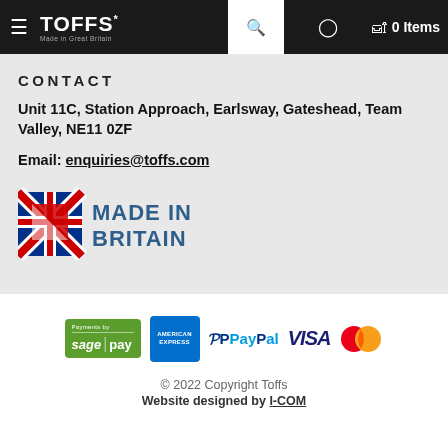TOFFS* Made in Great Britain — 0 Items
CONTACT
Unit 11C, Station Approach, Earlsway, Gateshead, Team Valley, NE11 0ZF
Email: enquiries@toffs.com
[Figure (logo): Made in Britain logo with Union Jack arrow icon and text MADE IN BRITAIN in blue]
[Figure (logo): Payment logos: Sage Pay, American Express, PayPal, Visa, Mastercard]
© 2022 Copyright Toffs
Website designed by I-COM